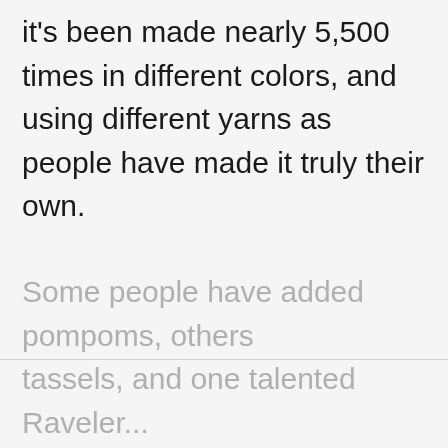it's been made nearly 5,500 times in different colors, and using different yarns as people have made it truly their own.
Some people have added pompoms, others tassels, and one talented Raveler...